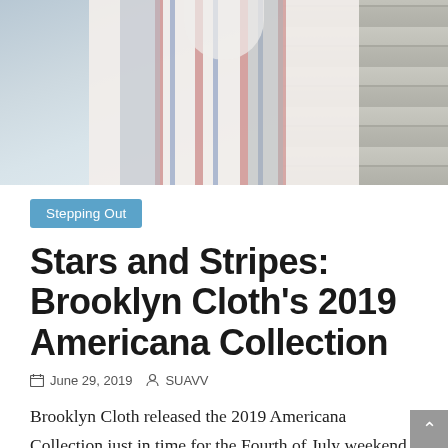[Figure (photo): Photo of a person wearing a striped red, white and blue hoodie/poncho, standing in front of a light stone wall background and grey wood plank wall on the right side. Only the torso and lower face/neck area visible.]
Stepping Out
Stars and Stripes: Brooklyn Cloth's 2019 Americana Collection
June 29, 2019  SUAVV
Brooklyn Cloth released the 2019 Americana Collection just in time for the Fourth of July weekend. The Red, White and Blue spirit and love for the USA really comes to